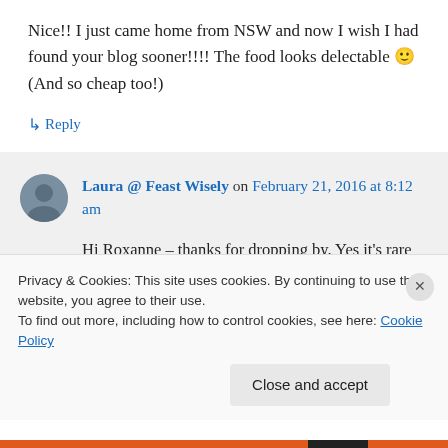Nice!! I just came home from NSW and now I wish I had found your blog sooner!!!! The food looks delectable 🙂 (And so cheap too!)
↳ Reply
Laura @ Feast Wisely on February 21, 2016 at 8:12 am
Hi Roxanne – thanks for dropping by. Yes it's rare to get such delicious-ness at such
Privacy & Cookies: This site uses cookies. By continuing to use this website, you agree to their use.
To find out more, including how to control cookies, see here: Cookie Policy
Close and accept